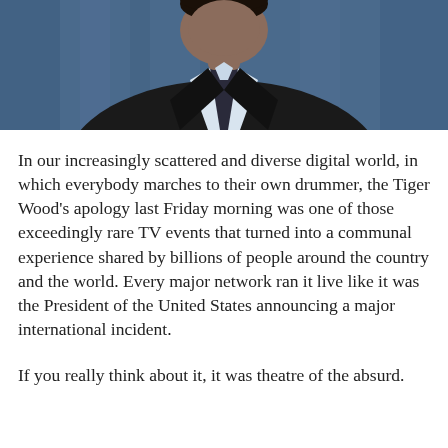[Figure (photo): A man in a dark jacket and light blue collared shirt, against a blue curtain background, photographed from shoulders up, looking slightly to his left.]
In our increasingly scattered and diverse digital world, in which everybody marches to their own drummer, the Tiger Wood's apology last Friday morning was one of those exceedingly rare TV events that turned into a communal experience shared by billions of people around the country and the world. Every major network ran it live like it was the President of the United States announcing a major international incident.
If you really think about it, it was theatre of the absurd.